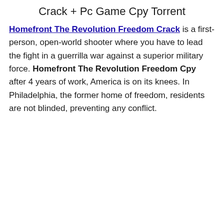Crack + Pc Game Cpy Torrent
Homefront The Revolution Freedom Crack is a first-person, open-world shooter where you have to lead the fight in a guerrilla war against a superior military force. Homefront The Revolution Freedom Cpy after 4 years of work, America is on its knees. In Philadelphia, the former home of freedom, residents are not blinded, preventing any conflict.